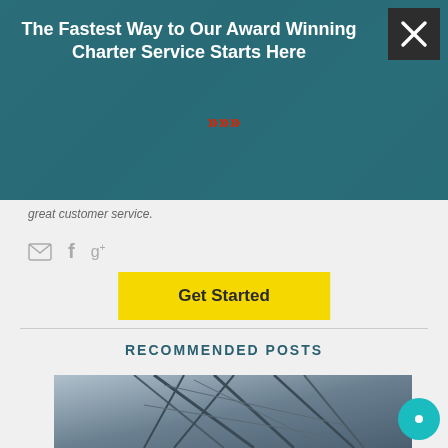[Figure (screenshot): Dark teal banner overlay with close (X) button in dark square top-right, title text, red double-chevron arrows, and yellow Get Started button]
The Fastest Way to Our Award Winning Charter Service Starts Here
>>> (red chevron arrows)
Get Started (yellow button)
great customer service.
Social icons: email, Facebook, Google+
RECOMMENDED POSTS
[Figure (photo): Photograph of sailing boat rigging/mast structures in blue-grey tones]